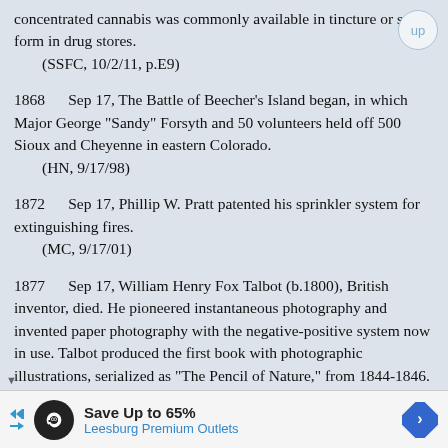concentrated cannabis was commonly available in tincture or solid form in drug stores.
    (SSFC, 10/2/11, p.E9)
1868    Sep 17, The Battle of Beecher's Island began, in which Major George "Sandy" Forsyth and 50 volunteers held off 500 Sioux and Cheyenne in eastern Colorado.
    (HN, 9/17/98)
1872    Sep 17, Phillip W. Pratt patented his sprinkler system for extinguishing fires.
    (MC, 9/17/01)
1877    Sep 17, William Henry Fox Talbot (b.1800), British inventor, died. He pioneered instantaneous photography and invented paper photography with the negative-positive system now in use. Talbot produced the first book with photographic illustrations, serialized as "The Pencil of Nature," from 1844-1846. In 1980 Gail Buckland authored "Fox Talbot and the
[Figure (infographic): Advertisement banner: Save Up to 65% - Leesburg Premium Outlets with navigation arrows and infinity logo]